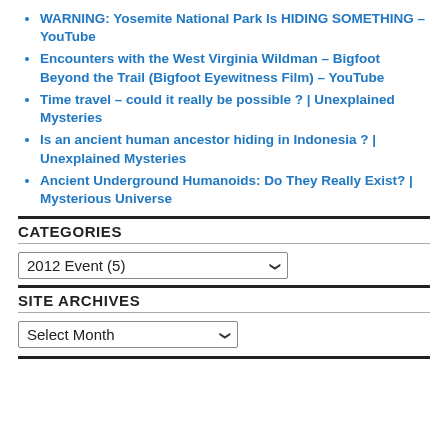WARNING: Yosemite National Park Is HIDING SOMETHING – YouTube
Encounters with the West Virginia Wildman – Bigfoot Beyond the Trail (Bigfoot Eyewitness Film) – YouTube
Time travel – could it really be possible ? | Unexplained Mysteries
Is an ancient human ancestor hiding in Indonesia ? | Unexplained Mysteries
Ancient Underground Humanoids: Do They Really Exist? | Mysterious Universe
CATEGORIES
2012 Event  (5)
SITE ARCHIVES
Select Month